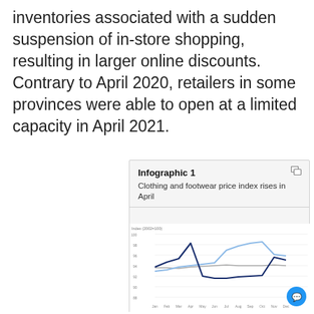inventories associated with a sudden suspension of in-store shopping, resulting in larger online discounts. Contrary to April 2020, retailers in some provinces were able to open at a limited capacity in April 2021.
[Figure (line-chart): Line chart showing clothing and footwear price index (2002=100) over months Jan through Dec, with two lines (dark blue 2021, light blue 2020) and a grey reference line. The dark blue line peaks around Apr/May and then drops, while the light blue line rises through the year.]